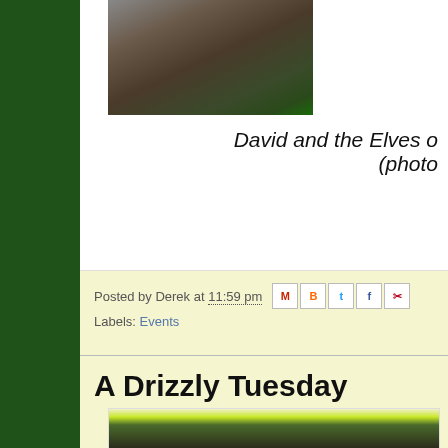[Figure (photo): Top partial photo showing wooden/green structure, cropped at top of page]
David and the Elves o... (photo...
Posted by Derek at 11:59 pm
Labels: Events
A Drizzly Tuesday
[Figure (photo): Dark interior photo, possibly barn or shed interior, partially visible at bottom of page]